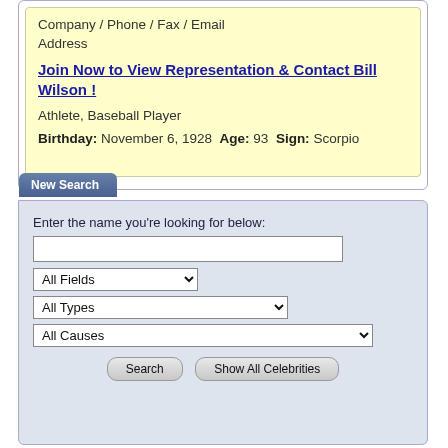Company / Phone / Fax / Email
Address
Join Now to View Representation & Contact Bill Wilson !
Athlete, Baseball Player
Birthday: November 6, 1928  Age: 93  Sign: Scorpio
New Search
Enter the name you're looking for below: